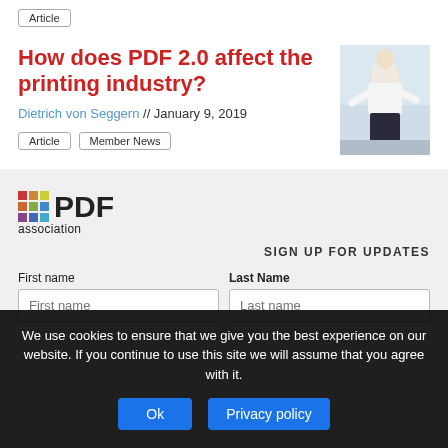Article
How does PDF 2.0 affect the printing industry?
Dietrich von Seggern // January 9, 2019
Article
Member News
[Figure (photo): Photo of a man speaking or presenting, wearing a white shirt, in front of a light background]
[Figure (logo): PDF Association logo with colorful square dots and bold PDF text with 'association' below]
SIGN UP FOR UPDATES
First name
Last Name
We use cookies to ensure that we give you the best experience on our website. If you continue to use this site we will assume that you agree with it.